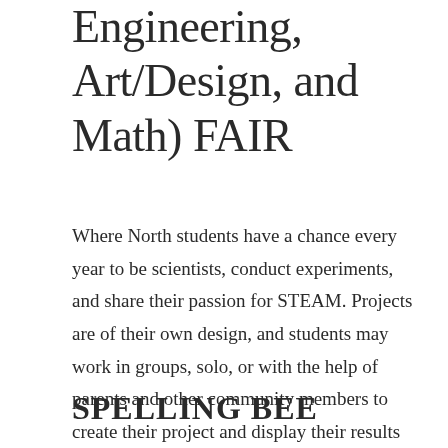Engineering, Art/Design, and Math) FAIR
Where North students have a chance every year to be scientists, conduct experiments, and share their passion for STEAM. Projects are of their own design, and students may work in groups, solo, or with the help of parents and other community members to create their project and display their results for all to see.
SPELLING BEE